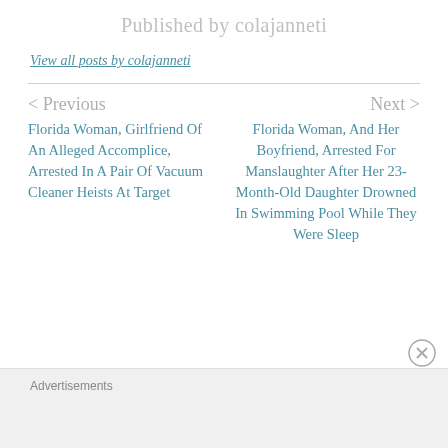Published by colajanneti
View all posts by colajanneti
< Previous
Next >
Florida Woman, Girlfriend Of An Alleged Accomplice, Arrested In A Pair Of Vacuum Cleaner Heists At Target
Florida Woman, And Her Boyfriend, Arrested For Manslaughter After Her 23-Month-Old Daughter Drowned In Swimming Pool While They Were Sleep
Advertisements